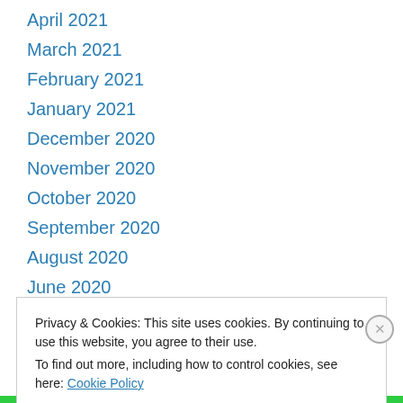April 2021
March 2021
February 2021
January 2021
December 2020
November 2020
October 2020
September 2020
August 2020
June 2020
May 2020
March 2020
February 2020
Privacy & Cookies: This site uses cookies. By continuing to use this website, you agree to their use. To find out more, including how to control cookies, see here: Cookie Policy
Close and accept